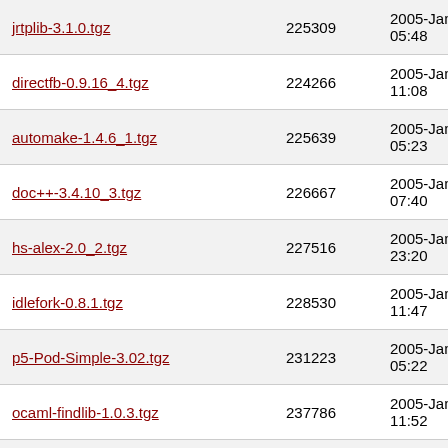| Filename | Size | Date |
| --- | --- | --- |
| jrtplib-3.1.0.tgz | 225309 | 2005-Jan-04 05:48 |
| directfb-0.9.16_4.tgz | 224266 | 2005-Jan-04 11:08 |
| automake-1.4.6_1.tgz | 225639 | 2005-Jan-04 05:23 |
| doc++-3.4.10_3.tgz | 226667 | 2005-Jan-08 07:40 |
| hs-alex-2.0_2.tgz | 227516 | 2005-Jan-04 23:20 |
| idlefork-0.8.1.tgz | 228530 | 2005-Jan-04 11:47 |
| p5-Pod-Simple-3.02.tgz | 231223 | 2005-Jan-04 05:22 |
| ocaml-findlib-1.0.3.tgz | 237786 | 2005-Jan-04 11:52 |
| libdbi-0.7.2.tgz | 238132 | 2005-Jan-04 05:03 |
| ocaml-extlib-1.3.tgz | 239298 | 2005-Jan-04 13:29 |
| hs-happy-1.14.tgz | 239424 | 2005-Jan-04 12:19 |
| ? | 240307 | 2005-Jan- |